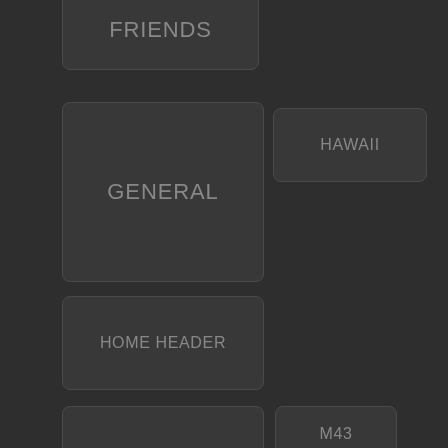FRIENDS
GENERAL
HAWAII
HOME HEADER
HONG KONG
M43
MACRO
MECHATRONICS
MICRO FOUR THIRDS
MONTREAL